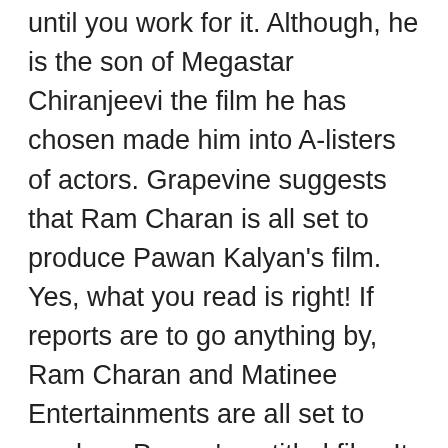until you work for it. Although, he is the son of Megastar Chiranjeevi the film he has chosen made him into A-listers of actors. Grapevine suggests that Ram Charan is all set to produce Pawan Kalyan's film. Yes, what you read is right! If reports are to go anything by, Ram Charan and Matinee Entertainments are all set to produce Pawan's untitled film. It is being said that Charan will take share from profits. Still, it's unclear an official confirmation regarding the news is awaited.